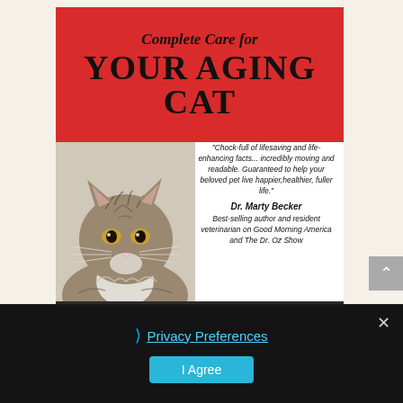[Figure (illustration): Book cover for 'Complete Care for YOUR AGING CAT' with red banner title, photo of a tabby cat, and endorsement quote from Dr. Marty Becker]
"Chock-full of lifesaving and life-enhancing facts... incredibly moving and readable. Guaranteed to help your beloved pet live happier, healthier, fuller life." Dr. Marty Becker Best-selling author and resident veterinarian on Good Morning America and The Dr. Oz Show
Privacy Preferences
I Agree